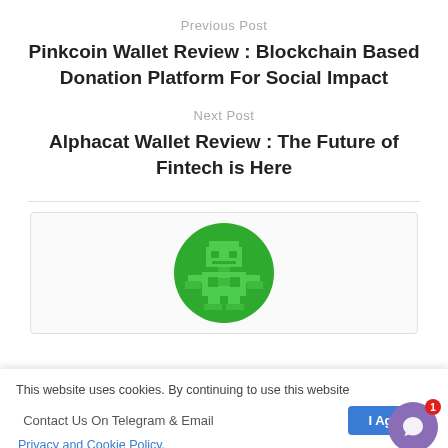Previous Post
Pinkcoin Wallet Review : Blockchain Based Donation Platform For Social Impact
Next Post
Alphacat Wallet Review : The Future of Fintech is Here
[Figure (illustration): Pixel art robot avatar in green circle, representing a blog author profile image]
This website uses cookies. By continuing to use this website you are giving consent to cookies being used. Visit our Privacy and Cookie Policy.
Contact Us On Telegram & Email